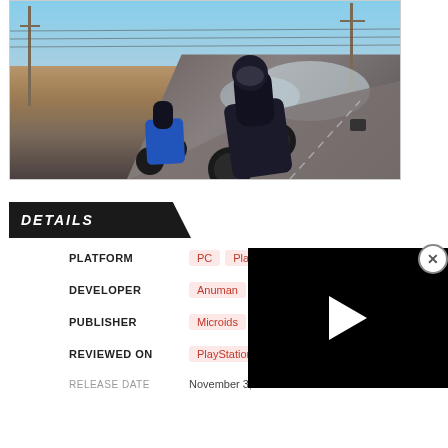[Figure (photo): Motorcycle racing game screenshot showing two motorbikes on a desert road under a blue sky with power lines]
DETAILS
PLATFORM: PC  PlayS...
DEVELOPER: Anuman
PUBLISHER: Microids
REVIEWED ON: PlayStation 4
RELEASE DATE: November 3, 2016.
[Figure (screenshot): Black video player overlay with white play button triangle and X close button]